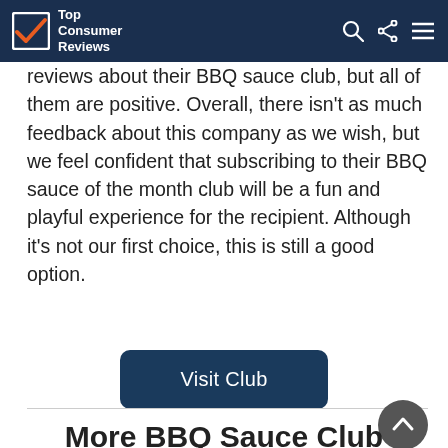Top Consumer Reviews
reviews about their BBQ sauce club, but all of them are positive. Overall, there isn't as much feedback about this company as we wish, but we feel confident that subscribing to their BBQ sauce of the month club will be a fun and playful experience for the recipient. Although it's not our first choice, this is still a good option.
Visit Club
More BBQ Sauce Club